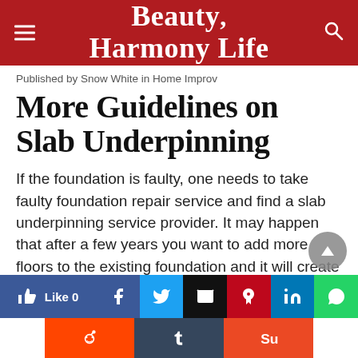Beauty Harmony Life
Published by Snow White in Home Improv
More Guidelines on Slab Underpinning
If the foundation is faulty, one needs to take faulty foundation repair service and find a slab underpinning service provider. It may happen that after a few years you want to add more floors to the existing foundation and it will create some pressure on the foundation. In that case, you require slab underpinning. When there's